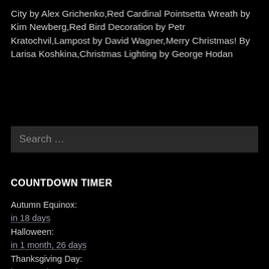City by Alex Grichenko,Red Cardinal Pointsetta Wreath by Kim Newberg,Red Bird Decoration by Petr Kratochvil,Lampost by David Wagner,Merry Christmas! By Larisa Koshkina,Christmas Lighting by George Hodan
Search ...
COUNTDOWN TIMER
Autumn Equinox:
in 18 days
Halloween:
in 1 month, 26 days
Thanksgiving Day:
in 2 months, 19 days
Black Friday:
in 2 months, 20 days